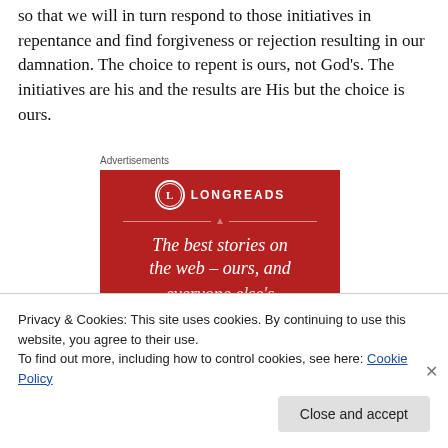so that we will in turn respond to those initiatives in repentance and find forgiveness or rejection resulting in our damnation. The choice to repent is ours, not God's. The initiatives are his and the results are His but the choice is ours.
Advertisements
[Figure (illustration): Longreads advertisement banner on red background with logo circle containing 'L', brand name LONGREADS, and text 'The best stories on the web – ours, and everyone else's' in italic serif font]
Privacy & Cookies: This site uses cookies. By continuing to use this website, you agree to their use.
To find out more, including how to control cookies, see here: Cookie Policy